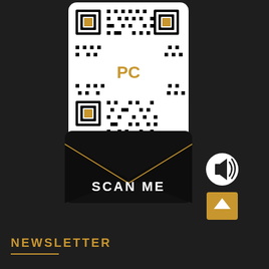[Figure (illustration): QR code with PC logo in center, emerging from a black envelope with gold accents, with SCAN ME text on the envelope front. A speaker/sound icon button and a gold up-arrow button appear to the right.]
NEWSLETTER